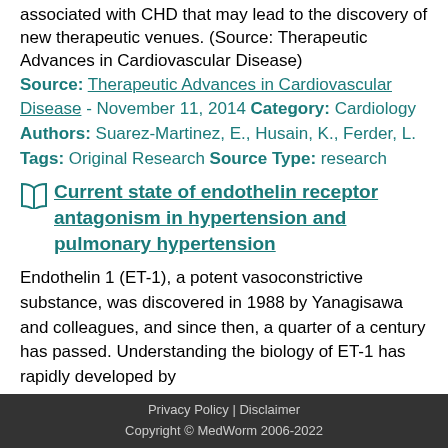associated with CHD that may lead to the discovery of new therapeutic venues. (Source: Therapeutic Advances in Cardiovascular Disease)
Source: Therapeutic Advances in Cardiovascular Disease - November 11, 2014 Category: Cardiology Authors: Suarez-Martinez, E., Husain, K., Ferder, L. Tags: Original Research Source Type: research
Current state of endothelin receptor antagonism in hypertension and pulmonary hypertension
Endothelin 1 (ET-1), a potent vasoconstrictive substance, was discovered in 1988 by Yanagisawa and colleagues, and since then, a quarter of a century has passed. Understanding the biology of ET-1 has rapidly developed by
Privacy Policy | Disclaimer Copyright © MedWorm 2006-2022